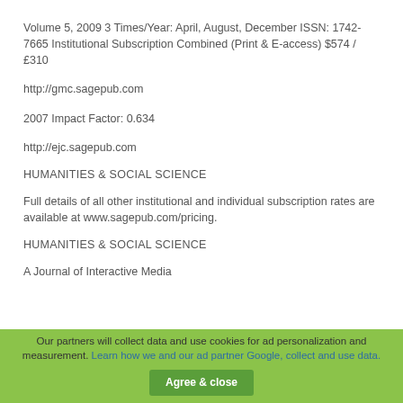Volume 5, 2009 3 Times/Year: April, August, December ISSN: 1742-7665 Institutional Subscription Combined (Print & E-access) $574 / £310
http://gmc.sagepub.com
2007 Impact Factor: 0.634
http://ejc.sagepub.com
HUMANITIES & SOCIAL SCIENCE
Full details of all other institutional and individual subscription rates are available at www.sagepub.com/pricing.
HUMANITIES & SOCIAL SCIENCE
A Journal of Interactive Media
Our partners will collect data and use cookies for ad personalization and measurement. Learn how we and our ad partner Google, collect and use data.